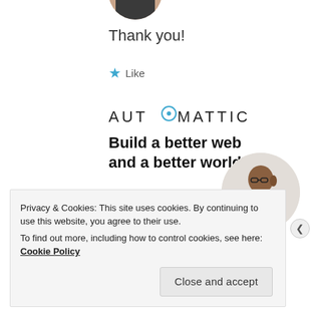[Figure (photo): Partial avatar/profile photo of a person, cropped circle at top]
Thank you!
★ Like
[Figure (logo): Automattic logo with compass icon in the O]
Build a better web and a better world.
[Figure (photo): Circular photo of a man with glasses looking upward thoughtfully]
Apply
Privacy & Cookies: This site uses cookies. By continuing to use this website, you agree to their use.
To find out more, including how to control cookies, see here: Cookie Policy
Close and accept